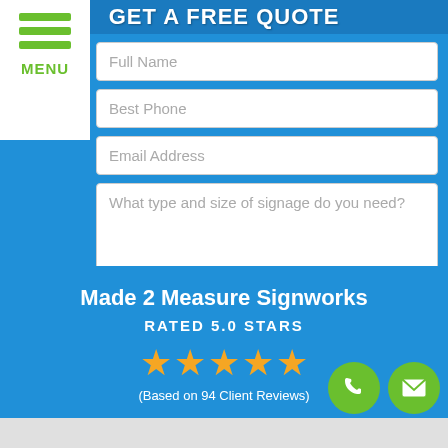GET A FREE QUOTE
Full Name
Best Phone
Email Address
What type and size of signage do you need?
REQUEST MY QUOTE
Made 2 Measure Signworks
RATED 5.0 STARS
(Based on 94 Client Reviews)